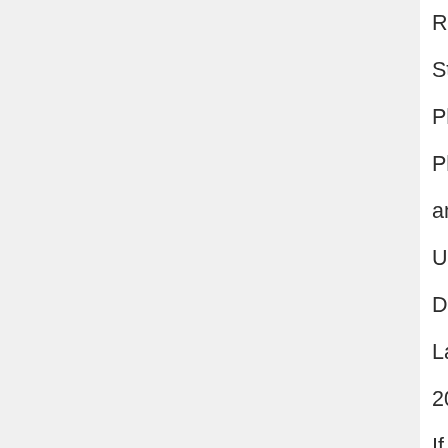Rivers State Physical Planning and Urban Development Law 2003. If carried out, the demolitions would leave over twenty thousand people homeless, and push the